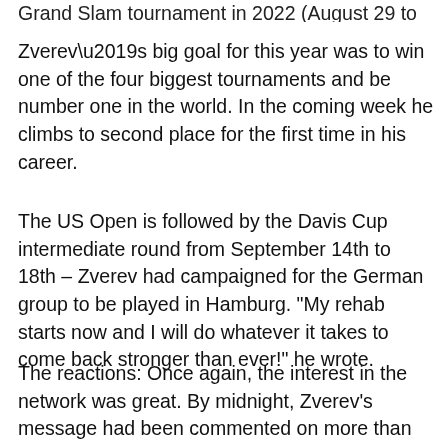Grand Slam tournament in 2022 (August 29 to September 11).
Zverev’s big goal for this year was to win one of the four biggest tournaments and be number one in the world. In the coming week he climbs to second place for the first time in his career.
The US Open is followed by the Davis Cup intermediate round from September 14th to 18th – Zverev had campaigned for the German group to be played in Hamburg. “My rehab starts now and I will do whatever it takes to come back stronger than ever!” he wrote.
The reactions: Once again, the interest in the network was great. By midnight, Zverev’s message had been commented on more than 1,000 times, and the Instagram post collected more than 37,000 hearts. Ex-pro Tommy Haas wished him a “quick recovery”, “Get well soon, Alex”, wrote Thomas Müller